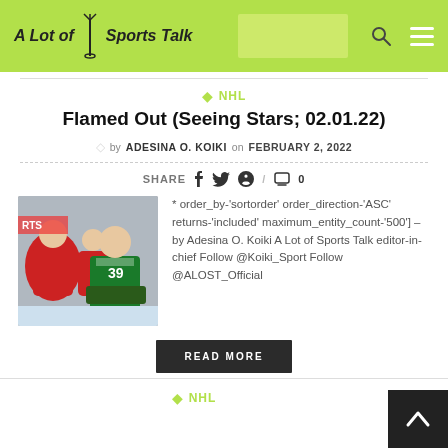A Lot of Sports Talk
NHL
Flamed Out (Seeing Stars; 02.01.22)
by ADESINA O. KOIKI on FEBRUARY 2, 2022
SHARE / 0
[Figure (photo): Hockey players on ice, a green-uniformed Dallas Stars goalie and red-uniformed Calgary Flames players in action]
* order_by-'sortorder' order_direction-'ASC' returns-'included' maximum_entity_count-'500']  – by Adesina O. Koiki A Lot of Sports Talk editor-in-chief Follow @Koiki_Sport Follow @ALOST_Official
READ MORE
NHL